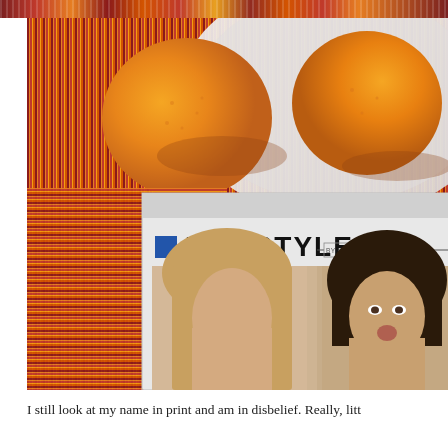[Figure (photo): A photograph showing oranges in a white bowl on a red/orange striped woven textile tablecloth, with a magazine page visible below showing the LIFESTYLE section header 'BY KATHLEEN ENGE' and two young women in the magazine photo.]
I still look at my name in print and am in disbelief. Really, litt